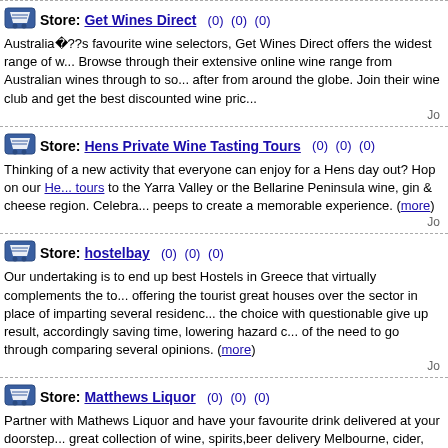Store: Get Wines Direct (0) (0) (0)
Australiaï¿½??s favourite wine selectors, Get Wines Direct offers the widest range of w... Browse through their extensive online wine range from Australian wines through to so... after from around the globe. Join their wine club and get the best discounted wine pric...
Store: Hens Private Wine Tasting Tours (0) (0) (0)
Thinking of a new activity that everyone can enjoy for a Hens day out? Hop on our He... tours to the Yarra Valley or the Bellarine Peninsula wine, gin & cheese region. Celebra... peeps to create a memorable experience. (more)
Store: hostelbay (0) (0) (0)
Our undertaking is to end up best Hostels in Greece that virtually complements the to... offering the tourist great houses over the sector in place of imparting several residenc... the choice with questionable give up result, accordingly saving time, lowering hazard c... of the need to go through comparing several opinions. (more)
Store: Matthews Liquor (0) (0) (0)
Partner with Mathews Liquor and have your favourite drink delivered at your doorstep... great collection of wine, spirits,beer delivery Melbourne, cider, double black standard c... champagne under one roof, you can buy cheap alcohol online without the hassle of vi... check at alcohol delivery melbourne. (more)
Store: Mordeo Bistro & Bar (0) (0) (0)
Mordeo Bistro & bar offers some of the best Italian, French, & Spanish cuisines in Syd... Smith has collaborated with Chef and Owner Nicholas Aspros & his brothers to curate... produce-driven dishes ranging from tapas and share plates, wood fire meals, hand str... pastas, robust mains to decadent desserts. The Team out front lead by Vivian Megum... deliver a warm and friendly and efficient dining experience. (more)